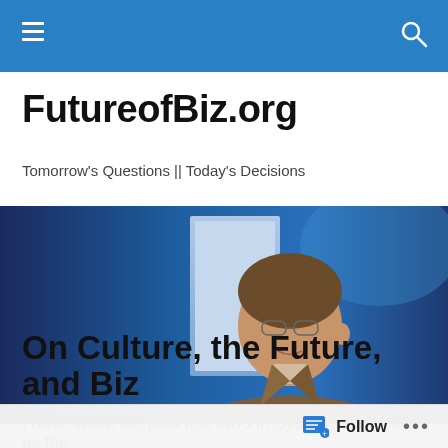FutureofBiz.org navigation bar
FutureofBiz.org
Tomorrow's Questions || Today's Decisions
[Figure (photo): A man with glasses wearing a brown jacket and a lapel microphone speaking at an event, with a blue-lit background.]
On Culture, the Future, and Biz
I have spent the past few days in Sydney, Australia, as the
Follow